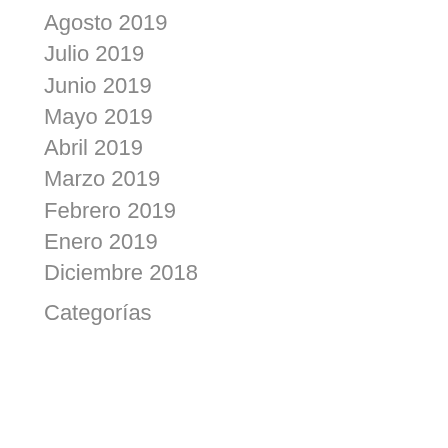Agosto 2019
Julio 2019
Junio 2019
Mayo 2019
Abril 2019
Marzo 2019
Febrero 2019
Enero 2019
Diciembre 2018
Categorías